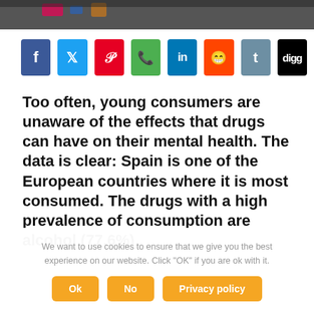[Figure (photo): Dark blurred photo bar at top of page, showing partial image of colored objects on a dark surface]
[Figure (infographic): Row of social media share buttons: Facebook (blue, f), Twitter (cyan, bird), Pinterest (red, P), WhatsApp (green, phone), LinkedIn (blue, in), Reddit (orange, alien), Tumblr (steel blue, t), Digg (black, digg)]
Too often, young consumers are unaware of the effects that drugs can have on their mental health. The data is clear: Spain is one of the European countries where it is most consumed. The drugs with a high prevalence of consumption are alcohol (77.6%),
We want to use cookies to ensure that we give you the best experience on our website. Click "OK" if you are ok with it.
Ok  No  Privacy policy